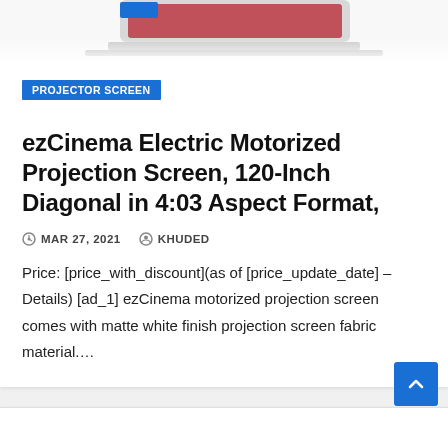[Figure (photo): Partial laptop/projector screen product image at top of card, cropped]
PROJECTOR SCREEN
ezCinema Electric Motorized Projection Screen, 120-Inch Diagonal in 4:03 Aspect Format,
MAR 27, 2021   KHUDED
Price: [price_with_discount](as of [price_update_date] – Details) [ad_1] ezCinema motorized projection screen comes with matte white finish projection screen fabric material….